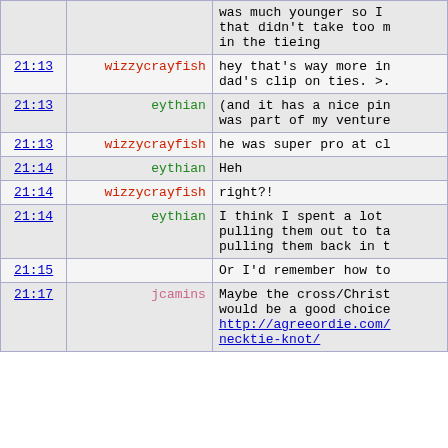| time | user | message |
| --- | --- | --- |
|  |  | was much younger so I that didn't take too m in the tieing |
| 21:13 | wizzycrayfish | hey that's way more in dad's clip on ties. >. |
| 21:13 | eythian | (and it has a nice pin was part of my venture |
| 21:13 | wizzycrayfish | he was super pro at cl |
| 21:14 | eythian | Heh |
| 21:14 | wizzycrayfish | right?! |
| 21:14 | eythian | I think I spent a lot pulling them out to ta pulling them back in t |
| 21:15 |  | Or I'd remember how to |
| 21:17 | jcamins | Maybe the cross/Christ would be a good choice http://agreeordie.com/ necktie-knot/ |